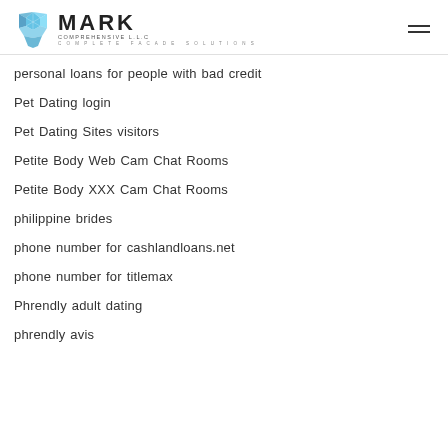[Figure (logo): Mark Comprehensive LLC logo with geometric blue diamond shape and text 'MARK COMPREHENSIVE L.L.C COMPLETE FACADE SOLUTIONS']
personal loans for people with bad credit
Pet Dating login
Pet Dating Sites visitors
Petite Body Web Cam Chat Rooms
Petite Body XXX Cam Chat Rooms
philippine brides
phone number for cashlandloans.net
phone number for titlemax
Phrendly adult dating
phrendly avis